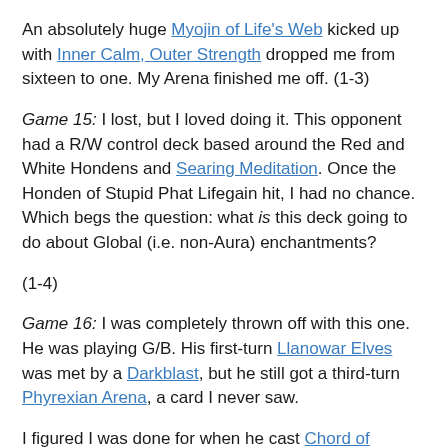An absolutely huge Myojin of Life's Web kicked up with Inner Calm, Outer Strength dropped me from sixteen to one. My Arena finished me off. (1-3)
Game 15: I lost, but I loved doing it. This opponent had a R/W control deck based around the Red and White Hondens and Searing Meditation. Once the Honden of Stupid Phat Lifegain hit, I had no chance. Which begs the question: what is this deck going to do about Global (i.e. non-Aura) enchantments?
(1-4)
Game 16: I was completely thrown off with this one. He was playing G/B. His first-turn Llanowar Elves was met by a Darkblast, but he still got a third-turn Phyrexian Arena, a card I never saw.
I figured I was done for when he cast Chord of Calling for six. Now, what does a G/B deck with a Chord for six?